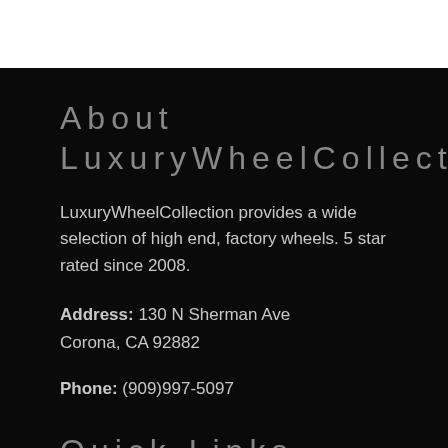About LuxuryWheelCollection
LuxuryWheelCollection provides a wide selection of high end, factory wheels. 5 star rated since 2008.
Address: 130 N Sherman Ave Corona, CA 92882
Phone: (909)997-5097
Quick Links